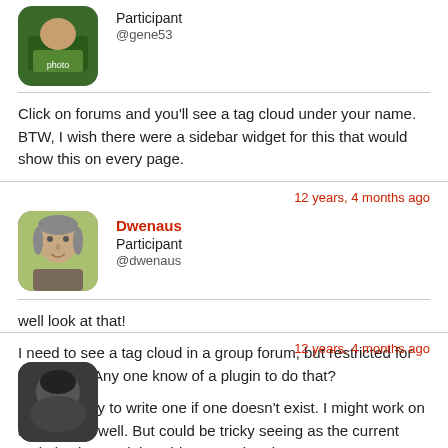[Figure (photo): Avatar of user gene53, green background]
Participant
@gene53
Click on forums and you'll see a tag cloud under your name. BTW, I wish there were a sidebar widget for this that would show this on every page.
12 years, 4 months ago
[Figure (photo): Avatar photo of Dwenaus, a man with grey hair outdoors]
Dwenaus
Participant
@dwenaus
well look at that!

I need to see a tag cloud in a group forum, but restricted for that group. Any one know of a plugin to do that?

I guess I'll try to write one if one doesn't exist. I might work on a widget as well. But could be tricky seeing as the current code is ajax, and the widget can't be ajax.
12 years, 4 months ago
[Figure (photo): Partial avatar at bottom of page, dark colored]